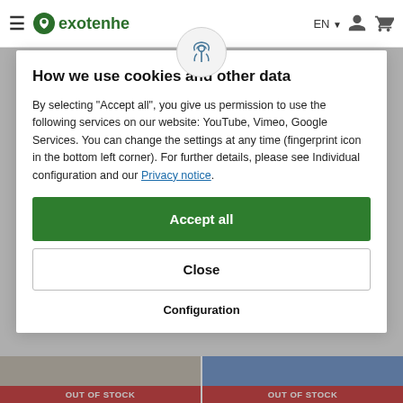exotenhe EN
How we use cookies and other data
By selecting "Accept all", you give us permission to use the following services on our website: YouTube, Vimeo, Google Services. You can change the settings at any time (fingerprint icon in the bottom left corner). For further details, please see Individual configuration and our Privacy notice.
Accept all
Close
Configuration
OUT OF STOCK
OUT OF STOCK